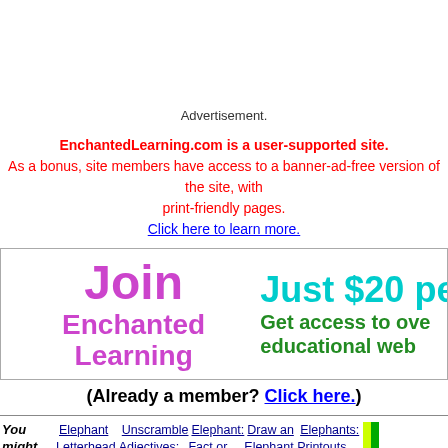Advertisement.
EnchantedLearning.com is a user-supported site. As a bonus, site members have access to a banner-ad-free version of the site, with print-friendly pages. Click here to learn more.
[Figure (infographic): Join Enchanted Learning banner with 'Just $20 per...' price and 'Get access to over... educational web...']
(Already a member? Click here.)
You might also like:
Elephant Letterhead
Unscramble Adjectives: Adjectives Describing An Elephant
Elephant: Fact or Opinion?, A
Draw an Elephant, Day and Night - Printable
Elephants: Printouts, Information, and a Quiz